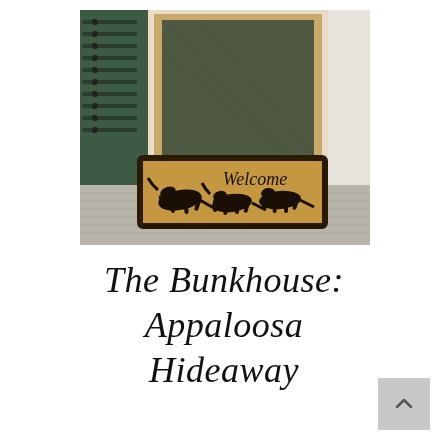[Figure (photo): A porch entrance with a wooden screen door and a coir welcome mat featuring running horses silhouettes and the word Welcome in cursive script. The porch floor is painted grey wood planking. To the left is a green painted wood siding exterior with decorative shutters.]
The Bunkhouse: Appaloosa Hideaway